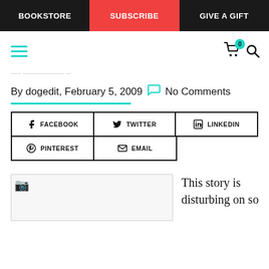BOOKSTORE | SUBSCRIBE | GIVE A GIFT
[Figure (screenshot): Website navigation bar with hamburger menu icon in teal, cart icon with badge showing 0, and search icon]
By dogedit, February 5, 2009  No Comments
[Figure (infographic): Social share buttons: FACEBOOK, TWITTER, LINKEDIN, PINTEREST, EMAIL]
[Figure (photo): Broken/loading image placeholder]
This story is disturbing on so